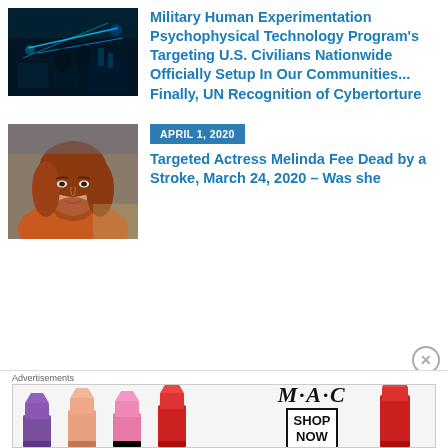[Figure (photo): Dark image of a laboratory or military technology setting with blue laser beams and equipment]
Military Human Experimentation Psychophysical Technology Program's Targeting U.S. Civilians Nationwide Officially Setup In Our Communities... Finally, UN Recognition of Cybertorture
[Figure (photo): Portrait of a woman with auburn/red hair, Melinda Fee, actress]
APRIL 1, 2020
Targeted Actress Melinda Fee Dead by a Stroke, March 24, 2020 – Was she "Dea...
[Figure (illustration): MAC cosmetics advertisement banner showing lipsticks in purple, peach, pink, and red colors with MAC logo and SHOP NOW button]